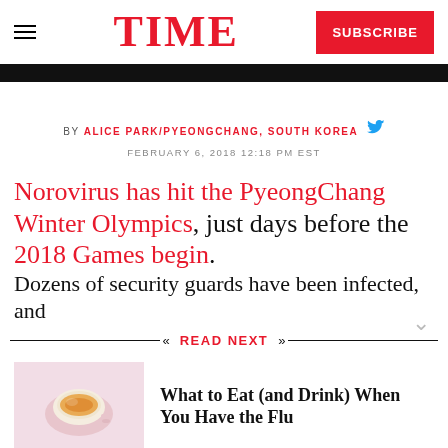TIME
BY ALICE PARK/PYEONGCHANG, SOUTH KOREA
FEBRUARY 6, 2018 12:18 PM EST
Norovirus has hit the PyeongChang Winter Olympics, just days before the 2018 Games begin. Dozens of security guards have been infected, and
READ NEXT
[Figure (photo): A cup of tea or hot drink in a white cup on a pink background]
What to Eat (and Drink) When You Have the Flu